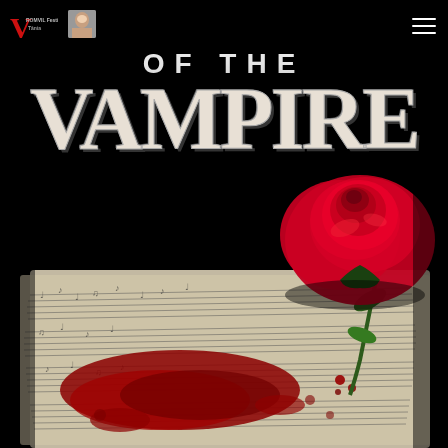ROMVIL Festival — navigation logo and menu
[Figure (illustration): Dark theatrical promotional image for 'Of the Vampire' — large white distressed gothic font reading 'OF THE' above massive 'VAMPIRE' text on black background, with a red rose resting on blood-stained sheet music in the lower half of the image]
OF THE VAMPIRE